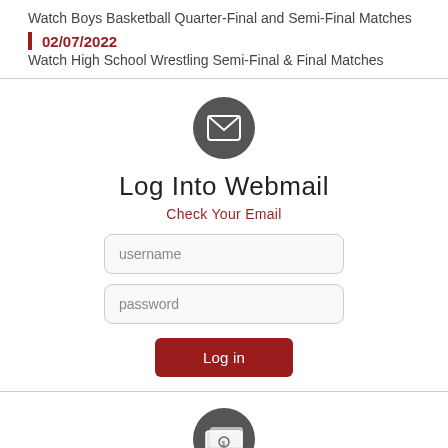Watch Boys Basketball Quarter-Final and Semi-Final Matches
02/07/2022
Watch High School Wrestling Semi-Final & Final Matches
[Figure (illustration): Dark grey circle icon with white envelope/mail symbol inside]
Log Into Webmail
Check Your Email
username
password
Log in
[Figure (illustration): Dark grey circle icon with white money/bills symbol inside]
Pay Your Bill...